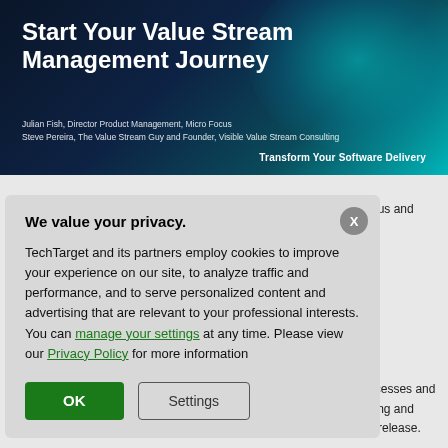[Figure (screenshot): Dark blue/teal gradient banner for a webinar or presentation titled 'Start Your Value Stream Management Journey' by Julian Fish and Steve Pereira, with the tagline 'Transform Your Software Delivery']
Start Your Value Stream Management Journey
Julian Fish, Director Product Management, Micro Focus
Steve Pereira, The Value Stream Guy and Founder, Visible Value Stream Consulting
Transform Your Software Delivery
We value your privacy.
TechTarget and its partners employ cookies to improve your experience on our site, to analyze traffic and performance, and to serve personalized content and advertising that are relevant to your professional interests. You can manage your settings at any time. Please view our Privacy Policy for more information
icro Focus and Steve
g
parate processes and
ware. Tooling and
ity to each release.